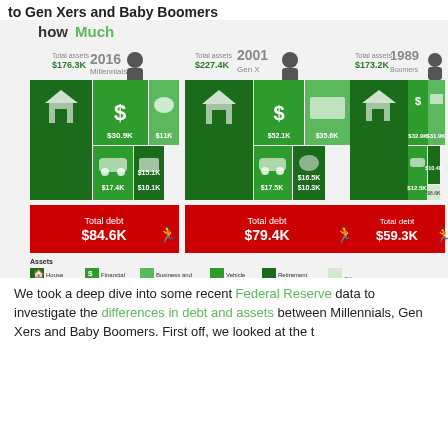to Gen Xers and Baby Boomers
[Figure (infographic): Infographic comparing total assets and total debt for Millennials (2016: $176.3K assets, $84.6K debt), Gen X (2001: $227.4K assets, $79.4K debt), and Baby Boomers (1989: $173.2K assets, $59.3K debt). Assets broken down into house value, financial assets, business and other assets, vehicle value, retirement balance, and other. Asset values shown as colored rectangles. Millennials: house $84.1K, financial $30.9K, retirement $11K, vehicle $17.4K, business $15.1K, other $10.1K. Gen X: house $95.1K, financial $52.1K, business $35.6K, vehicle $17.5K, retirement $16.5K, other $10.3K. Boomers: house $79K, financial $32.9K, business $31.9K, vehicle $12.5K, retirement $10.4K, other $6.6K. Legend at bottom shows asset categories with icons.]
We took a deep dive into some recent Federal Reserve data to investigate the differences in debt and assets between Millennials, Gen Xers and Baby Boomers. First off, we looked at the t